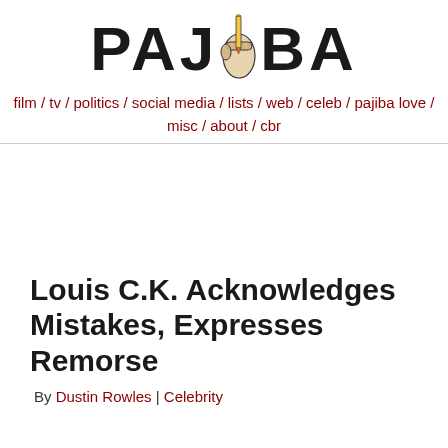PAJIBA
film / tv / politics / social media / lists / web / celeb / pajiba love / misc / about / cbr
Louis C.K. Acknowledges Mistakes, Expresses Remorse
By Dustin Rowles | Celebrity